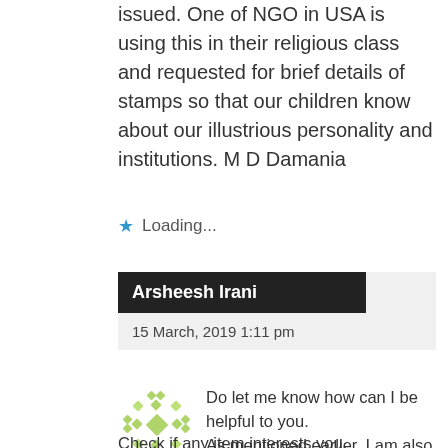issued. One of NGO in USA is using this in their religious class and requested for brief details of stamps so that our children know about our illustrious personality and institutions. M D Damania
★ Loading...
Arsheesh Irani
15 March, 2019 1:11 pm
Do let me know how can I be helpful to you. As mentioned earlier, I am also on ebay by the name simonthebichon
Check if any item interests you.